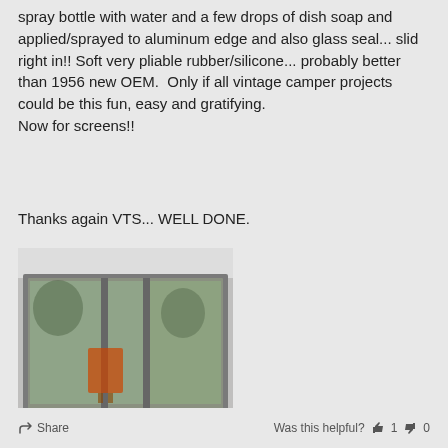spray bottle with water and a few drops of dish soap and applied/sprayed to aluminum edge and also glass seal... slid right in!! Soft very pliable rubber/silicone... probably better than 1956 new OEM. Only if all vintage camper projects could be this fun, easy and gratifying.
Now for screens!!
Thanks again VTS... WELL DONE.
[Figure (photo): Photo of a vintage camper window with an aluminum frame, showing three glass panels with trees and an orange object visible through the glass.]
Share   Was this helpful? 1  0